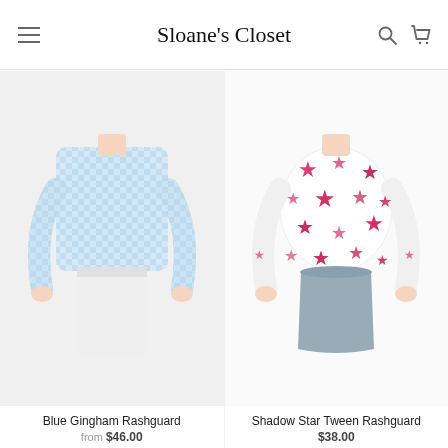Sloane's Closet
[Figure (photo): Blue Gingham Rashguard — long-sleeve light blue and white gingham patterned rash guard worn by a model, shown from the torso down, paired with white bottoms.]
Blue Gingham Rashguard
from $46.00
[Figure (photo): Shadow Star Tween Rashguard — long-sleeve white rash guard with pink/red star pattern, worn by a model, shown from torso down, paired with grey bikini bottoms.]
Shadow Star Tween Rashguard
$38.00